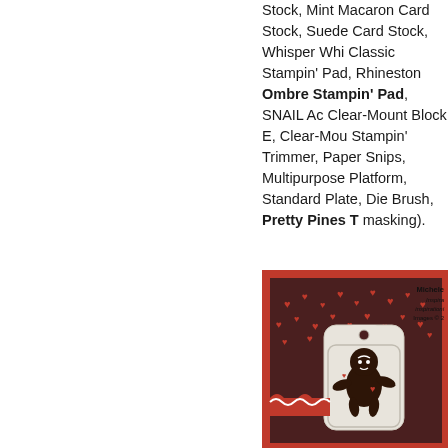Stock, Mint Macaron Card Stock, Suede Card Stock, Whisper White Classic Stampin' Pad, Rhineston Ombre Stampin' Pad, SNAIL Ac Clear-Mount Block E, Clear-Mou Stampin' Trimmer, Paper Snips, Multipurpose Platform, Standard Plate, Die Brush, Pretty Pines T masking).
[Figure (photo): Handmade card with dark brown background featuring red heart cutouts and a gingerbread person figure on a white decorative tag, set on a red card base with ruffled ribbon detail. Watermark in top right corner reads 'Michele' and 'inspirationi Images © 2...']